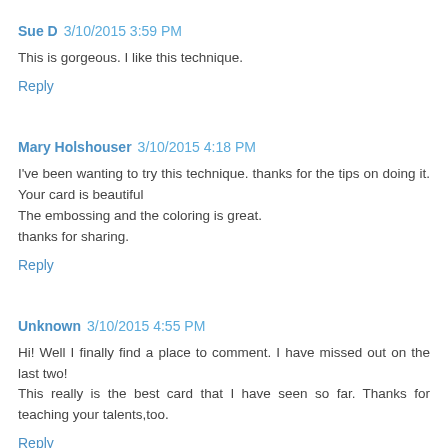Sue D  3/10/2015 3:59 PM
This is gorgeous. I like this technique.
Reply
Mary Holshouser  3/10/2015 4:18 PM
I've been wanting to try this technique. thanks for the tips on doing it. Your card is beautiful
The embossing and the coloring is great.
thanks for sharing.
Reply
Unknown  3/10/2015 4:55 PM
Hi! Well I finally find a place to comment. I have missed out on the last two!
This really is the best card that I have seen so far. Thanks for teaching your talents,too.
Reply